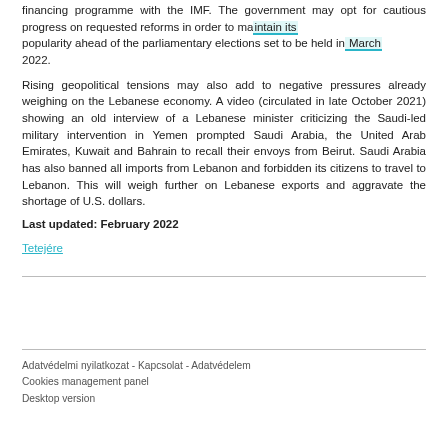financing programme with the IMF. The government may opt for cautious progress on requested reforms in order to maintain its popularity ahead of the parliamentary elections set to be held in March 2022.
Rising geopolitical tensions may also add to negative pressures already weighing on the Lebanese economy. A video (circulated in late October 2021) showing an old interview of a Lebanese minister criticizing the Saudi-led military intervention in Yemen prompted Saudi Arabia, the United Arab Emirates, Kuwait and Bahrain to recall their envoys from Beirut. Saudi Arabia has also banned all imports from Lebanon and forbidden its citizens to travel to Lebanon. This will weigh further on Lebanese exports and aggravate the shortage of U.S. dollars.
Last updated: February 2022
Tetejére
Adatvédelmi nyilatkozat - Kapcsolat - Adatvédelem
Cookies management panel
Desktop version